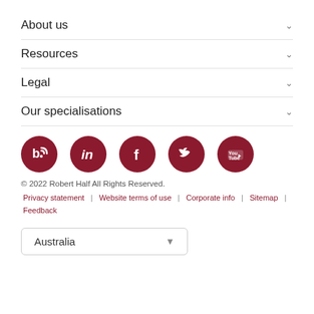About us
Resources
Legal
Our specialisations
[Figure (infographic): Row of five dark red circular social media icons: blog (b with wifi), LinkedIn, Facebook, Twitter, YouTube]
© 2022 Robert Half All Rights Reserved.
Privacy statement | Website terms of use | Corporate info | Sitemap | Feedback
Australia